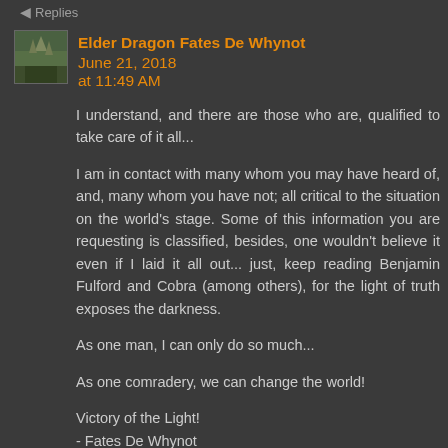Replies
Elder Dragon Fates De Whynot  June 21, 2018 at 11:49 AM
I understand, and there are those who are, qualified to take care of it all...
I am in contact with many whom you may have heard of, and, many whom you have not; all critical to the situation on the world's stage. Some of this information you are requesting is classified, besides, one wouldn't believe it even if I laid it all out... just, keep reading Benjamin Fulford and Cobra (among others), for the light of truth exposes the darkness.
As one man, I can only do so much...
As one comradery, we can change the world!
Victory of the Light!
- Fates De Whynot